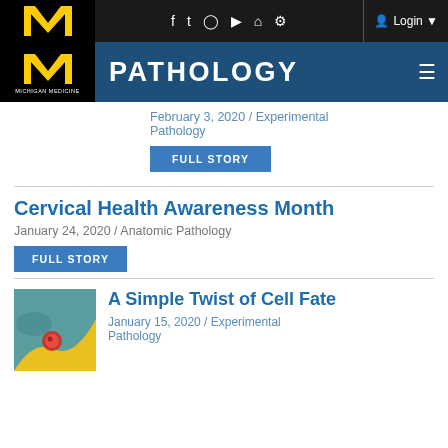[Figure (screenshot): Michigan Medicine logo with block M in yellow on black background]
PATHOLOGY
February 3, 2020 / Experimental Pathology
FULL STORY
Cervical Health Awareness Month
January 24, 2020 / Anatomic Pathology
FULL STORY
[Figure (illustration): Colorful teal and yellow illustration of a cell with a red sphere]
A Simple Twist of Cell Fate
January 15, 2020 / Experimental Pathology